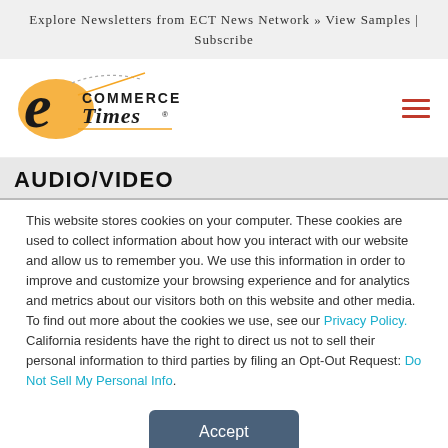Explore Newsletters from ECT News Network » View Samples | Subscribe
[Figure (logo): E-Commerce Times logo with stylized orange/black e and blackletter text]
AUDIO/VIDEO
This website stores cookies on your computer. These cookies are used to collect information about how you interact with our website and allow us to remember you. We use this information in order to improve and customize your browsing experience and for analytics and metrics about our visitors both on this website and other media. To find out more about the cookies we use, see our Privacy Policy. California residents have the right to direct us not to sell their personal information to third parties by filing an Opt-Out Request: Do Not Sell My Personal Info.
Accept